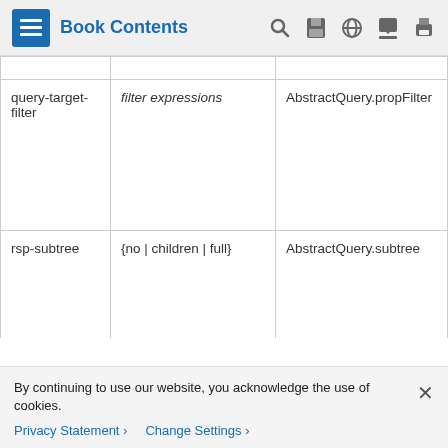Book Contents
| query-target-filter | filter expressions | AbstractQuery.propFilter |
| rsp-subtree | {no | children | full} | AbstractQuery.subtree |
| rsp-subtree | class name | AbstractQuery.subtreeClassFilt… |
By continuing to use our website, you acknowledge the use of cookies.
Privacy Statement >   Change Settings >